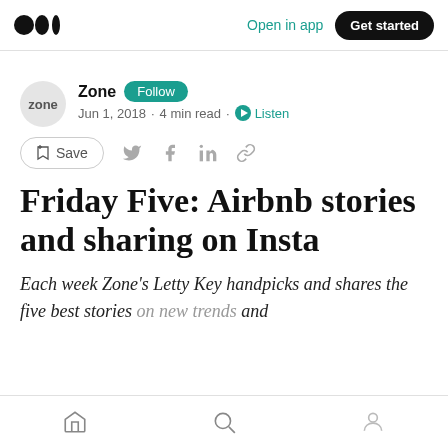Medium logo | Open in app | Get started
Zone  Follow
Jun 1, 2018 · 4 min read · Listen
Save (action bar with share icons)
Friday Five: Airbnb stories and sharing on Insta
Each week Zone's Letty Key handpicks and shares the five best stories on new trends and
Home | Search | Profile (bottom nav)